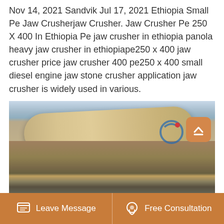Nov 14, 2021 Sandvik Jul 17, 2021 Ethiopia Small Pe Jaw Crusherjaw Crusher. Jaw Crusher Pe 250 X 400 In Ethiopia Pe jaw crusher in ethiopia panola heavy jaw crusher in ethiopiape250 x 400 jaw crusher price jaw crusher 400 pe250 x 400 small diesel engine jaw stone crusher application jaw crusher is widely used in various.
[Figure (photo): Industrial rotary kiln or large cylindrical drum at a construction/industrial site, with scaffolding and support structures visible below. A company logo watermark (blue circular logo) is visible in the upper right of the photo, along with an orange scroll-to-top button.]
Leave Message   Free Consultation